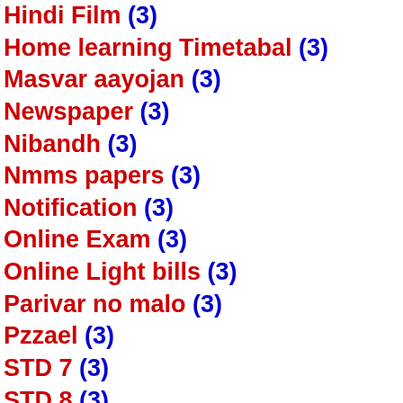Hindi Film (3)
Home learning Timetabal (3)
Masvar aayojan (3)
Newspaper (3)
Nibandh (3)
Nmms papers (3)
Notification (3)
Online Exam (3)
Online Light bills (3)
Parivar no malo (3)
Pzzael (3)
STD 7 (3)
STD 8 (3)
Sparsh Talim (3)
Std 11 (3)
Tiranga WhatsApp Dp (3)
std 10 (3)
APPRENTICE (2)
Aadhaar Card Update (2)